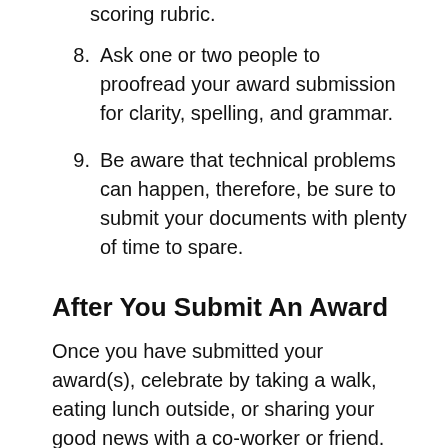scoring rubric.
8. Ask one or two people to proofread your award submission for clarity, spelling, and grammar.
9. Be aware that technical problems can happen, therefore, be sure to submit your documents with plenty of time to spare.
After You Submit An Award
Once you have submitted your award(s), celebrate by taking a walk, eating lunch outside, or sharing your good news with a co-worker or friend. As you wait to hear the results of your award submission(s), keep focused on your current programming efforts and remember, there are more award